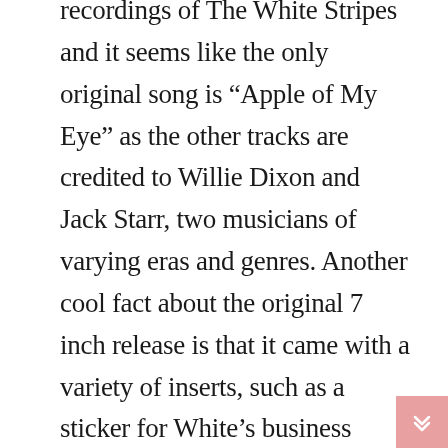recordings of The White Stripes and it seems like the only original song is “Apple of My Eye” as the other tracks are credited to Willie Dixon and Jack Starr, two musicians of varying eras and genres. Another cool fact about the original 7 inch release is that it came with a variety of inserts, such as a sticker for White’s business ‘Third Man Upholstery’, a “fabric” sample of sandpaper, a Muldoon Studio business card and a reproduction of an WE Klomp upholstery tag. Sounds like something my friends and I would do.